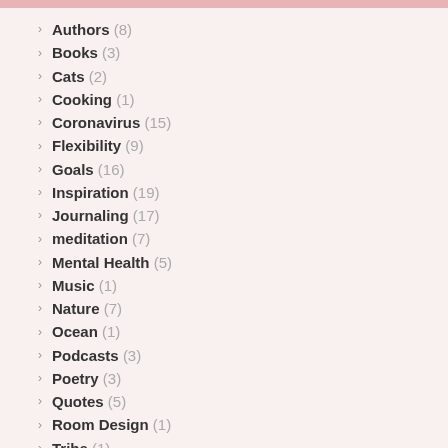Authors (8)
Books (3)
Cats (2)
Cooking (1)
Coronavirus (15)
Flexibility (9)
Goals (16)
Inspiration (19)
Journaling (17)
meditation (7)
Mental Health (5)
Music (1)
Nature (7)
Ocean (1)
Podcasts (3)
Poetry (3)
Quotes (5)
Room Design (1)
Tribe (1)
yoga (14)